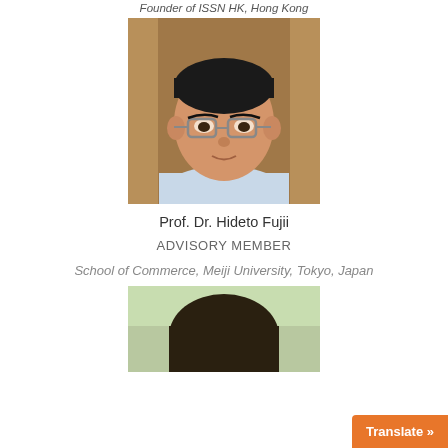Founder of ISSN HK, Hong Kong
[Figure (photo): Portrait photo of Prof. Dr. Hideto Fujii, a middle-aged Asian man with glasses wearing a light blue shirt]
Prof. Dr. Hideto Fujii
ADVISORY MEMBER
School of Commerce, Meiji University, Tokyo, Japan
[Figure (photo): Partial portrait photo of another person, cropped at bottom of page]
Translate »